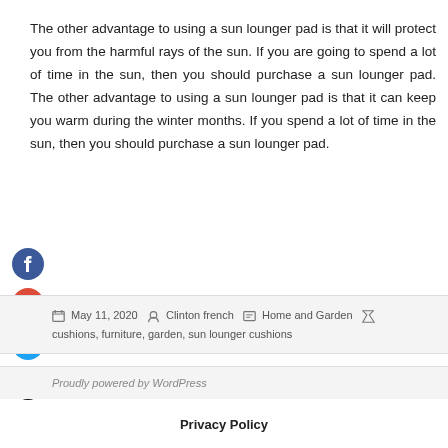The other advantage to using a sun lounger pad is that it will protect you from the harmful rays of the sun. If you are going to spend a lot of time in the sun, then you should purchase a sun lounger pad. The other advantage to using a sun lounger pad is that it can keep you warm during the winter months. If you spend a lot of time in the sun, then you should purchase a sun lounger pad.
May 11, 2020  Clinton french  Home and Garden  cushions, furniture, garden, sun lounger cushions
Proudly powered by WordPress
Privacy Policy